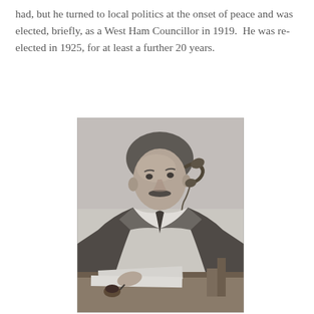had, but he turned to local politics at the onset of peace and was elected, briefly, as a West Ham Councillor in 1919.  He was re-elected in 1925, for at least a further 20 years.
[Figure (photo): Black and white photograph of a man in a suit sitting at a desk, holding a telephone receiver to his ear with his left hand and writing with his right hand. He has a moustache and is looking downward.]